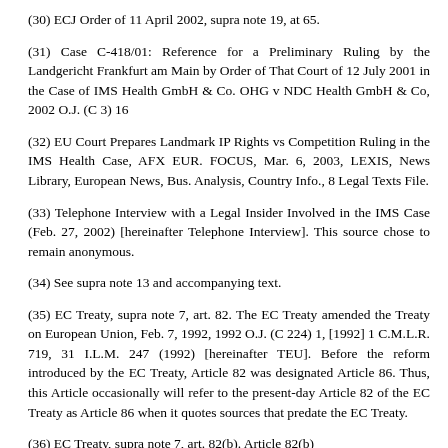(30) ECJ Order of 11 April 2002, supra note 19, at 65.
(31) Case C-418/01: Reference for a Preliminary Ruling by the Landgericht Frankfurt am Main by Order of That Court of 12 July 2001 in the Case of IMS Health GmbH & Co. OHG v NDC Health GmbH & Co, 2002 O.J. (C 3) 16
(32) EU Court Prepares Landmark IP Rights vs Competition Ruling in the IMS Health Case, AFX EUR. FOCUS, Mar. 6, 2003, LEXIS, News Library, European News, Bus. Analysis, Country Info., 8 Legal Texts File.
(33) Telephone Interview with a Legal Insider Involved in the IMS Case (Feb. 27, 2002) [hereinafter Telephone Interview]. This source chose to remain anonymous.
(34) See supra note 13 and accompanying text.
(35) EC Treaty, supra note 7, art. 82. The EC Treaty amended the Treaty on European Union, Feb. 7, 1992, 1992 O.J. (C 224) 1, [1992] 1 C.M.L.R. 719, 31 I.L.M. 247 (1992) [hereinafter TEU]. Before the reform introduced by the EC Treaty, Article 82 was designated Article 86. Thus, this Article occasionally will refer to the present-day Article 82 of the EC Treaty as Article 86 when it quotes sources that predate the EC Treaty.
(36) EC Treaty, supra note 7, art. 82(b). Article 82(b)